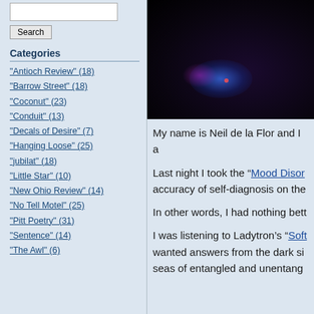Search input box
Search
Categories
"Antioch Review" (18)
"Barrow Street" (18)
"Coconut" (23)
"Conduit" (13)
"Decals of Desire" (7)
"Hanging Loose" (25)
"jubilat" (18)
"Little Star" (10)
"New Ohio Review" (14)
"No Tell Motel" (25)
"Pitt Poetry" (31)
"Sentence" (14)
"The Awl" (6)
[Figure (photo): Dark concert/club photo with blue and purple stage lighting]
My name is Neil de la Flor and I a
Last night I took the “Mood Disor accuracy of self-diagnosis on the
In other words, I had nothing bett
I was listening to Ladytron’s “Soft wanted answers from the dark si seas of entangled and unentang